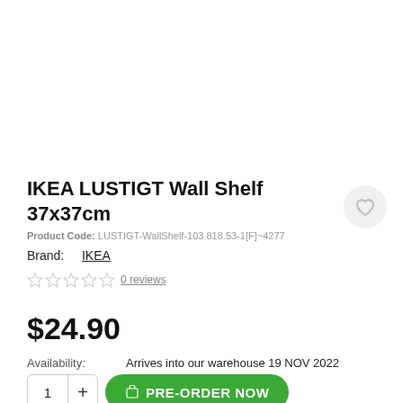IKEA LUSTIGT Wall Shelf 37x37cm
Product Code: LUSTIGT-WallShelf-103.818.53-1[F]~4277
Brand: IKEA
0 reviews
$24.90
Availability: Arrives into our warehouse 19 NOV 2022
PRE-ORDER NOW